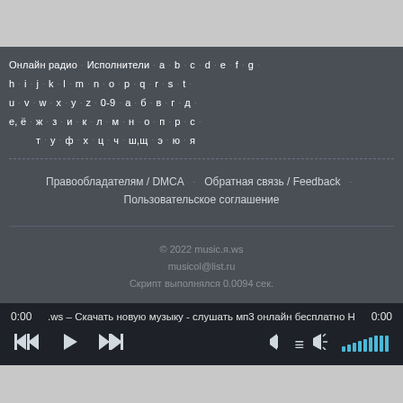[Figure (screenshot): Top light gray area of a web page]
Онлайн радио · Исполнители · a · b · c · d · e · f · g · h · i · j · k · l · m · n · o · p · q · r · s · t · u · v · w · x · y · z · 0-9 · а · б · в · г · д · е, ё · ж · з · и · к · л · м · н · о · п · р · с · т · у · ф · х · ц · ч · ш,щ · э · ю · я
Правообладателям / DMCA · Обратная связь / Feedback · Пользовательское соглашение
© 2022 music.я.ws
musicol@list.ru
Скрипт выполнялся 0.0094 сек.
[Figure (screenshot): Audio player bar showing time 0:00, track title '.ws – Скачать новую музыку - слушать мп3 онлайн бесплатно Н', controls: previous, play, next, menu, volume with bars]